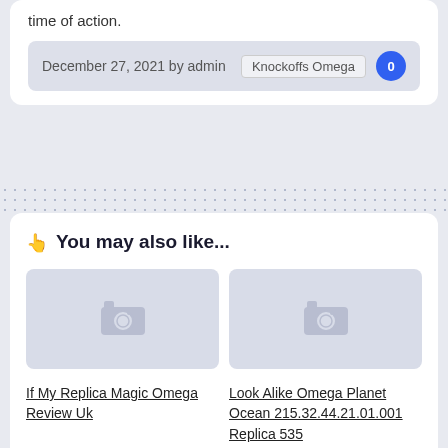time of action.
December 27, 2021 by admin  Knockoffs Omega  0
👆 You may also like...
[Figure (photo): Placeholder image thumbnail for If My Replica Magic Omega Review Uk]
[Figure (photo): Placeholder image thumbnail for Look Alike Omega Planet Ocean 215.32.44.21.01.001 Replica 535]
If My Replica Magic Omega Review Uk
Look Alike Omega Planet Ocean 215.32.44.21.01.001 Replica 535